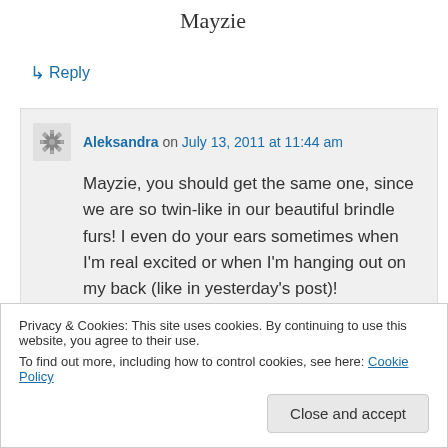Mayzie
↳ Reply
Aleksandra on July 13, 2011 at 11:44 am
Mayzie, you should get the same one, since we are so twin-like in our beautiful brindle furs! I even do your ears sometimes when I'm real excited or when I'm hanging out on my back (like in yesterday's post)!
Privacy & Cookies: This site uses cookies. By continuing to use this website, you agree to their use.
To find out more, including how to control cookies, see here: Cookie Policy
Close and accept